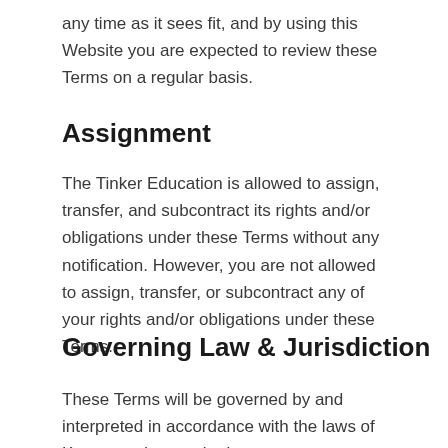any time as it sees fit, and by using this Website you are expected to review these Terms on a regular basis.
Assignment
The Tinker Education is allowed to assign, transfer, and subcontract its rights and/or obligations under these Terms without any notification. However, you are not allowed to assign, transfer, or subcontract any of your rights and/or obligations under these Terms.
Governing Law & Jurisdiction
These Terms will be governed by and interpreted in accordance with the laws of Kenya, and you submit to